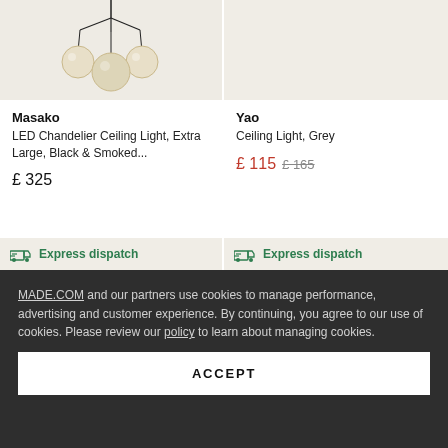[Figure (photo): Masako LED Chandelier Ceiling Light product photo showing amber glass globe pendant lights on a black frame, beige background]
[Figure (photo): Yao Ceiling Light Grey product photo, partially visible on light beige background]
Masako
LED Chandelier Ceiling Light, Extra Large, Black & Smoked...
£ 325
Yao
Ceiling Light, Grey
£ 115  £ 165
Express dispatch
Express dispatch
MADE.COM and our partners use cookies to manage performance, advertising and customer experience. By continuing, you agree to our use of cookies. Please review our policy to learn about managing cookies.
ACCEPT